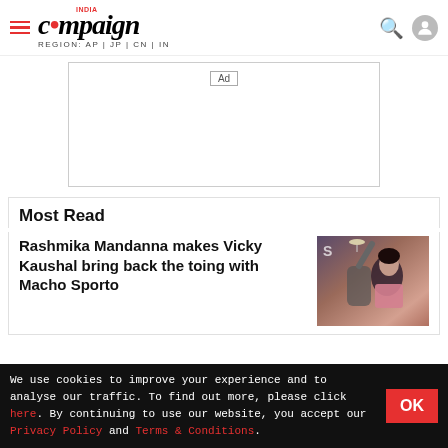campaign India — REGION: AP | JP | CN | IN
[Figure (other): Advertisement placeholder box with 'Ad' label]
Most Read
Rashmika Mandanna makes Vicky Kaushal bring back the toing with Macho Sporto
[Figure (photo): Thumbnail showing a woman in a pink top with raised arm, advertisement scene]
We use cookies to improve your experience and to analyse our traffic. To find out more, please click here. By continuing to use our website, you accept our Privacy Policy and Terms & Conditions.